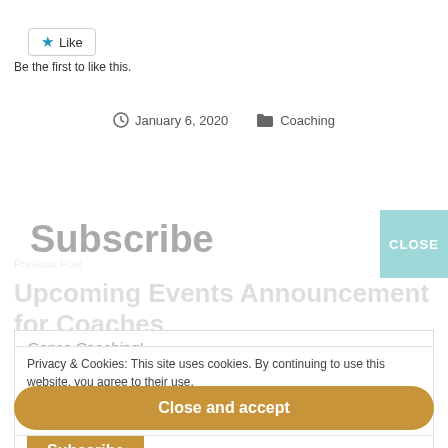[Figure (other): Like button with blue star icon and 'Like' label in a bordered rounded rectangle]
Be the first to like this.
January 6, 2020   Coaching
Previous Post
Upcoming Events Announcement for Coaches
Subscribe
Genco Coaching!
Email Address
Subscribe
Privacy & Cookies: This site uses cookies. By continuing to use this website, you agree to their use.
To find out more, including how to control cookies, see here: Cookie Policy
Close and accept
CLOSE